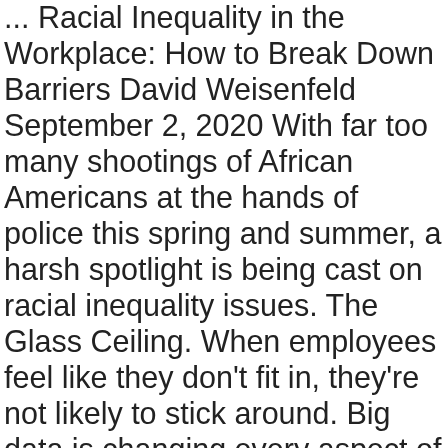... Racial Inequality in the Workplace: How to Break Down Barriers David Weisenfeld September 2, 2020 With far too many shootings of African Americans at the hands of police this spring and summer, a harsh spotlight is being cast on racial inequality issues. The Glass Ceiling. When employees feel like they don't fit in, they're not likely to stick around. Big data is changing every aspect of the world we live in. Workplace diversity is defined as ... One of the main barriers to increasing workplace diversity is lacking an official diversity recruitment policy or system. Good intentions aren't enough to overcome pipeline issues and unconscious biases that interfere with hiring both the best candidates and hiring more diverse candidates. Every degree program at WGU is tied to a high-growth, highly rewarding career path. There are multiple levels of integration that are needed, including social connections and issues related to workplace equality like fairness of pay, work responsibilities, and more. Special Education and Elementary Education (Dual Licensure) – B.A. 2